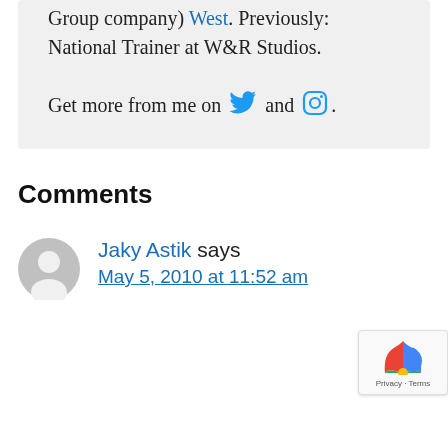Group company) West. Previously: National Trainer at W&R Studios.
Get more from me on [Twitter icon] and [Instagram icon].
Comments
Jaky Astik says May 5, 2010 at 11:52 am